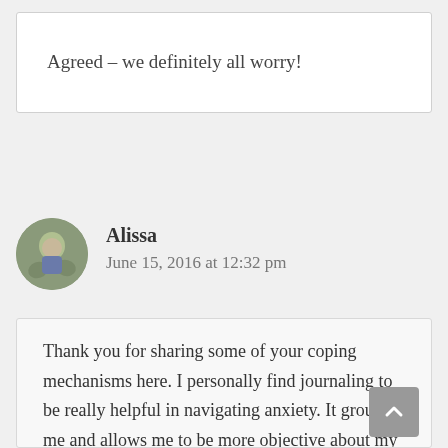Agreed – we definitely all worry!
Alissa
June 15, 2016 at 12:32 pm
Thank you for sharing some of your coping mechanisms here. I personally find journaling to be really helpful in navigating anxiety. It grounds me and allows me to be more objective about my